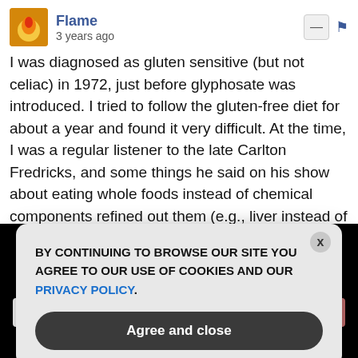Flame · 3 years ago
I was diagnosed as gluten sensitive (but not celiac) in 1972, just before glyphosate was introduced. I tried to follow the gluten-free diet for about a year and found it very difficult. At the time, I was a regular listener to the late Carlton Fredricks, and some things he said on his show about eating whole foods instead of chemical components refined out them (e.g., liver instead of taking iron pills) led me to make major changes in diet. E.g., I gave up white bread for whole grain and, to the extent I ate cereal, went for the ones with the most complete grains. Also
GET THE WORLD'S BEST NATURAL HEALTH NEWSLETTER DELIVERED STRAIGHT TO YOUR INBOX
BY CONTINUING TO BROWSE OUR SITE YOU AGREE TO OUR USE OF COOKIES AND OUR PRIVACY POLICY.
Agree and close